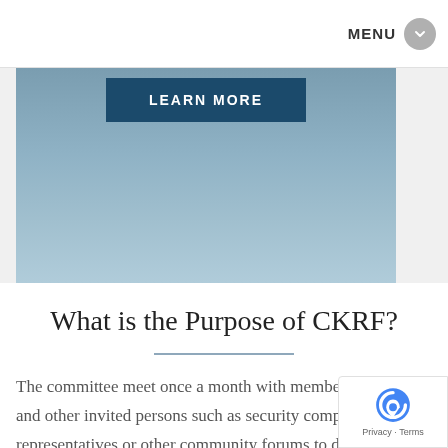MENU
[Figure (photo): Hero banner image with a teal/blue-gray gradient background and a dark teal 'LEARN MORE' button overlay at top center]
What is the Purpose of CKRF?
The committee meet once a month with members of SAPS and other invited persons such as security company representatives or other community forums to discuss current crime issues in